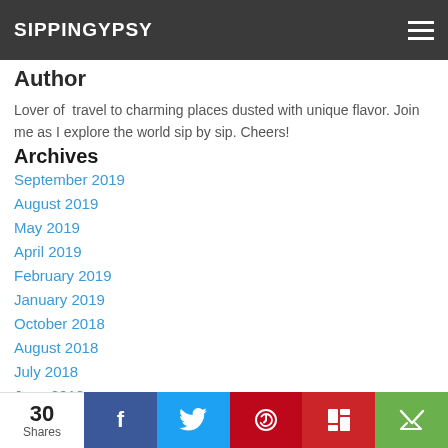SIPPINGYPSY
Author
Lover of  travel to charming places dusted with unique flavor. Join me as I explore the world sip by sip. Cheers!
Archives
September 2019
August 2019
May 2019
April 2019
February 2019
January 2019
October 2018
August 2018
July 2018
June 2018
May 2018
30 Shares